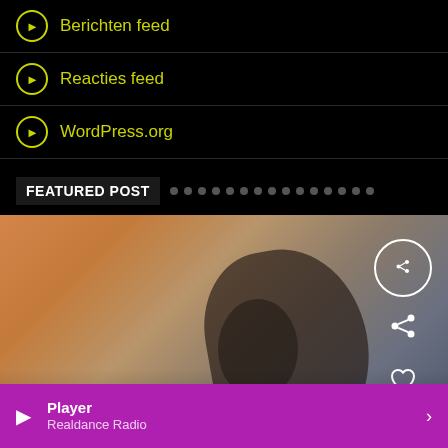Berichten feed
Reacties feed
WordPress.org
FEATURED POST
[Figure (photo): Blurred close-up photo with warm orange/peach tones on left and cooler grey/blue tones on right, showing what appears to be a DJ controller or vinyl record player. Has a link icon (circle with chain link), share icon, and heart icon overlaid on the right side.]
Player
Realdance Radio